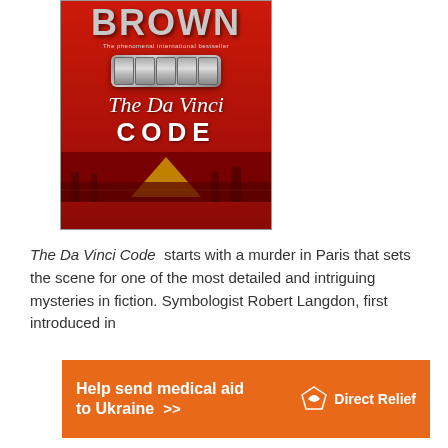[Figure (photo): Book cover of 'The Da Vinci Code' by Dan Brown — red background with author name 'BROWN' in large metallic letters at top, tagline 'The phenomenal international bestseller', a cryptex cylinder device in the center, cursive 'The Da Vinci Code' title and Louvre pyramid scene at bottom]
The Da Vinci Code  starts with a murder in Paris that sets the scene for one of the most detailed and intriguing mysteries in fiction. Symbologist Robert Langdon, first introduced in
[Figure (infographic): Orange advertisement banner: 'Help send medical aid to Ukraine >>' with Direct Relief logo on the right]